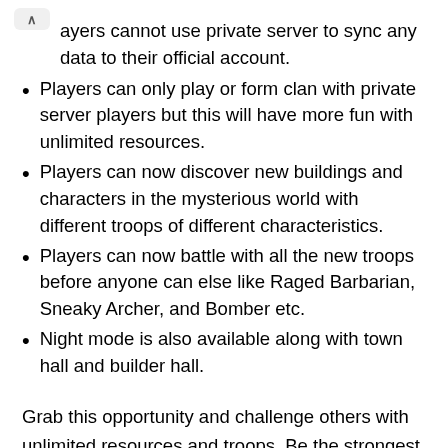ayers cannot use private server to sync any data to their official account.
Players can only play or form clan with private server players but this will have more fun with unlimited resources.
Players can now discover new buildings and characters in the mysterious world with different troops of different characteristics.
Players can now battle with all the new troops before anyone can else like Raged Barbarian, Sneaky Archer, and Bomber etc.
Night mode is also available along with town hall and builder hall.
Grab this opportunity and challenge others with unlimited resources and troops. Be the strongest of all the clans and experience unlimited fun.